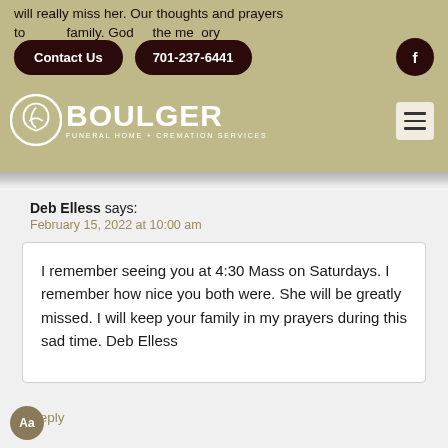will really miss her. Our thoughts and prayers to … family. God keep the memory o…
[Figure (screenshot): Boulger Funeral Home + Cremation Services logo with navigation buttons: Contact Us, 701-237-6441, Facebook icon, and hamburger menu]
Deb Elless says:
February 15, 2022 at 10:00 am
I remember seeing you at 4:30 Mass on Saturdays. I remember how nice you both were. She will be greatly missed. I will keep your family in my prayers during this sad time. Deb Elless
Reply